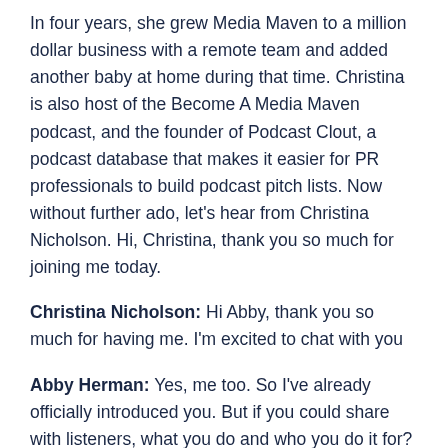In four years, she grew Media Maven to a million dollar business with a remote team and added another baby at home during that time. Christina is also host of the Become A Media Maven podcast, and the founder of Podcast Clout, a podcast database that makes it easier for PR professionals to build podcast pitch lists. Now without further ado, let's hear from Christina Nicholson. Hi, Christina, thank you so much for joining me today.
Christina Nicholson: Hi Abby, thank you so much for having me. I'm excited to chat with you
Abby Herman: Yes, me too. So I've already officially introduced you. But if you could share with listeners, what you do and who you do it for?